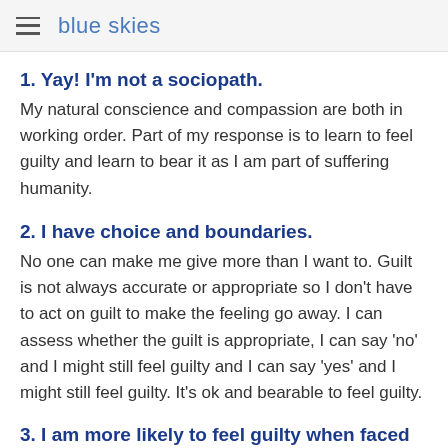blue skies
1. Yay! I'm not a sociopath.
My natural conscience and compassion are both in working order. Part of my response is to learn to feel guilty and learn to bear it as I am part of suffering humanity.
2. I have choice and boundaries.
No one can make me give more than I want to. Guilt is not always accurate or appropriate so I don't have to act on guilt to make the feeling go away. I can assess whether the guilt is appropriate, I can say 'no' and I might still feel guilty and I can say 'yes' and I might still feel guilty. It's ok and bearable to feel guilty.
3. I am more likely to feel guilty when faced with